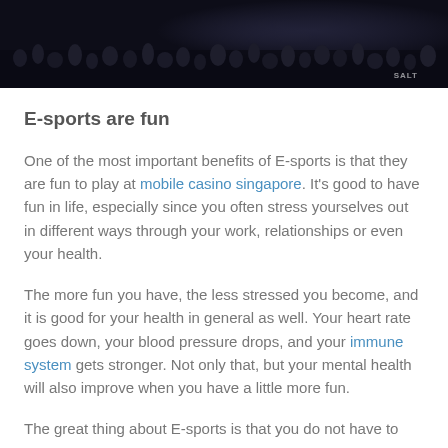[Figure (photo): Dark crowd photo at an esports or gaming event, with 'SALT' text visible in bottom right corner]
E-sports are fun
One of the most important benefits of E-sports is that they are fun to play at mobile casino singapore. It's good to have fun in life, especially since you often stress yourselves out in different ways through your work, relationships or even your health.
The more fun you have, the less stressed you become, and it is good for your health in general as well. Your heart rate goes down, your blood pressure drops, and your immune system gets stronger. Not only that, but your mental health will also improve when you have a little more fun.
The great thing about E-sports is that you do not have to